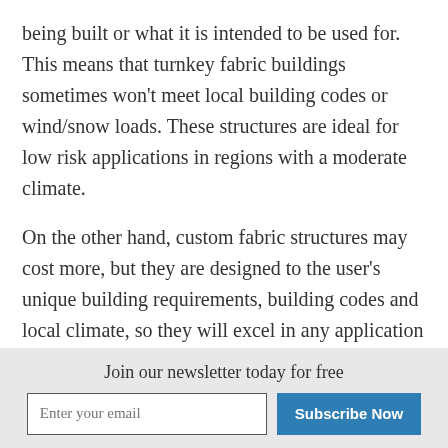being built or what it is intended to be used for. This means that turnkey fabric buildings sometimes won't meet local building codes or wind/snow loads. These structures are ideal for low risk applications in regions with a moderate climate.
On the other hand, custom fabric structures may cost more, but they are designed to the user's unique building requirements, building codes and local climate, so they will excel in any application that they are used for. There are manufacturers who can customize structures down to the smallest details. In addition to being able to specify the dimensions of
Join our newsletter today for free